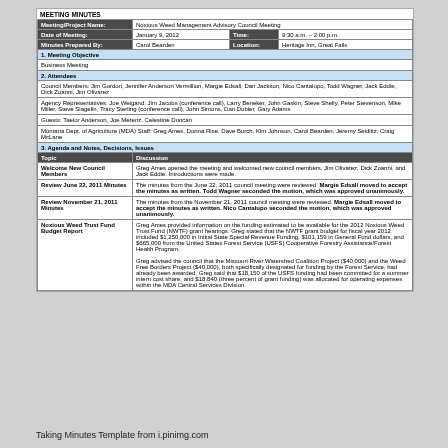MEETING MINUTES
| Meeting/Project Name: | Noxious Weed Management Advisory Council Meeting |
| Date of Meeting: | January 9, 2012 | Time: | 9:30 a.m. – 2:00 p.m. |
| Minutes Prepared By: | Carol Bearden | Location: | Heritage Inn, Great Falls |
| 1. Meeting Objective |
| Business Meeting |
| 2. Attendees |
| Council Members: Jim Gordon, Jennifer Anderson Vermillion, Margie Edsall, Dan Jackson, Nico Cantalupo, Todd Wagner, Jack Eddie, Dick Zoanni, Jim Olivarez |
| Agency Representatives: Joe Weigand, Jim Jacobs (conference call), Larry Beneker, John Gaskin, Steve Shelly, Peter Stevenson, Mike Miller, Steve Slagelin, Tracy Sterling (conference call), John Simons, Dan Dobler, Gary Adams |
| Guests: Taelor Anderson, Joe Merenz, Celestine Duncan |
| Montana Dept. of Agriculture (MDA) Staff: Greg Ames, Donna Rise, Dave Burch, Kim Johnson, Carol Bearden, Jeremy Seidlitz, Craig McLane |
| 3. Agenda and Notes, Decisions, Issues |
| Topic | Discussion |
| Welcome New Council Members | Greg Ames opened the meeting and welcomed new council members, Jim Olivarez, Dick Zoanni, and Jack Eddie. Introductions were made. |
| Review June 22, 2011 Minutes | The minutes from the June 22, 2011 council meeting were reviewed. Margie Edsall moved to accept the minutes as written. Todd Wagner seconded the motion, which was approved unanimously. |
| Review November 21, 2011 Minutes | The minutes from the November 21, 2011 council meeting were reviewed. Margie Edsall moved to accept the minutes as written. Nico Cantalupo seconded the motion, which was approved unanimously. |
| Noxious Weed Trust Fund Budget Report | Greg Ames provided information on the funding estimated to be available for the 2012 Noxious Weed Trust Fund (NWTF) grant hearings. Greg stated that the NWTF grant budget for fiscal year 2012 included $1,250,000 in Initial State Special Revenue Funding, $101,159 in General Fund dollars, and $665,000 from the United States Forest Service (USFS) Cooperative Forestry Assistance/Forest Health Program.

Greg advised the council that the Missouri River Watershed Coalition Project ($40,000) and the Weed Free Borders Project ($40,000), both specifically designated for funding by the Forest Service, had already been awarded. Greg said that $18,150 of the USFS funding had been committed for a summer intern cost share, and $18,840 (three percent of grant funding) was allocated for operating expenses within the MDA Central Services Division. |
Taking Minutes Template from i.pinimg.com